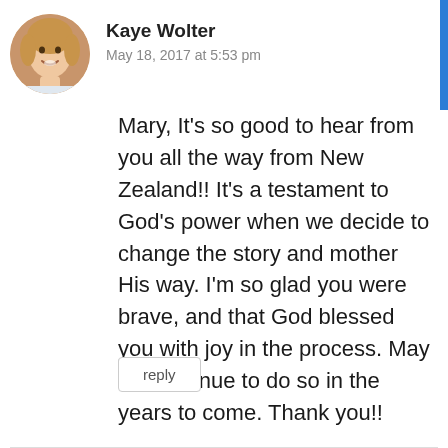[Figure (photo): Circular avatar photo of a smiling woman with blonde/light brown wavy hair]
Kaye Wolter
May 18, 2017 at 5:53 pm
Mary, It’s so good to hear from you all the way from New Zealand!! It’s a testament to God’s power when we decide to change the story and mother His way. I’m so glad you were brave, and that God blessed you with joy in the process. May He continue to do so in the years to come. Thank you!!
reply